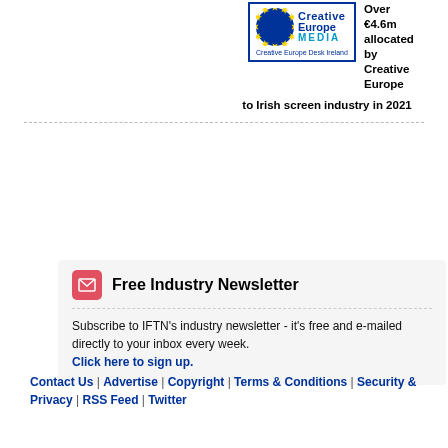[Figure (logo): Creative Europe MEDIA / Creative Europe Desk Ireland logo in blue bordered box with EU star circle]
Over €4.6m allocated by Creative Europe to Irish screen industry in 2021
Free Industry Newsletter
Subscribe to IFTN's industry newsletter - it's free and e-mailed directly to your inbox every week.
Click here to sign up.
search [search input with checkboxes: the Website, Directory List, Festivals, Who's Who, Locations, Filmography, News, Crew, Actors] GO
Contact Us | Advertise | Copyright | Terms & Conditions | Security & Privacy | RSS Feed | Twitter